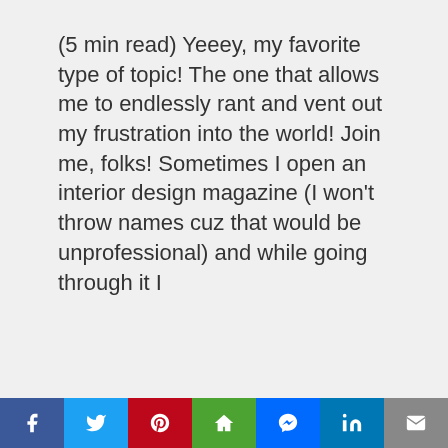(5 min read) Yeeey, my favorite type of topic! The one that allows me to endlessly rant and vent out my frustration into the world! Join me, folks! Sometimes I open an interior design magazine (I won't throw names cuz that would be unprofessional) and while going through it I
M. BELOSH
26
Privacy & Cookies: This site uses cookies. By continuing to use this website, you agree to their use.
To find out more, including how to control cookies, see here: Cookie Policy
Close and accept